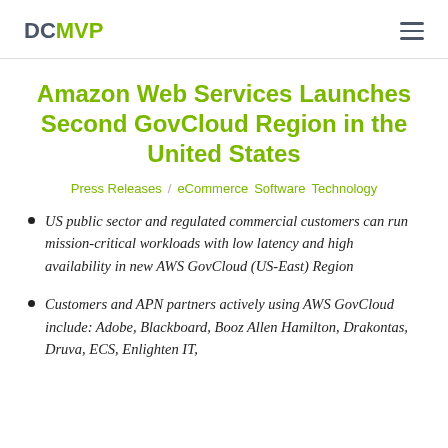DCMVP
Amazon Web Services Launches Second GovCloud Region in the United States
Press Releases / eCommerce Software Technology
US public sector and regulated commercial customers can run mission-critical workloads with low latency and high availability in new AWS GovCloud (US-East) Region
Customers and APN partners actively using AWS GovCloud include: Adobe, Blackboard, Booz Allen Hamilton, Drakontas, Druva, ECS, Enlighten IT,